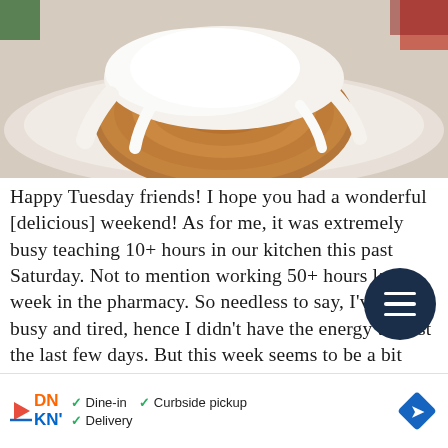[Figure (photo): Close-up photo of a cinnamon roll with white cream cheese frosting on a white plate, with colorful items blurred in the background]
Happy Tuesday friends! I hope you had a wonderful [delicious] weekend! As for me, it was extremely busy teaching 10+ hours in our kitchen this past Saturday. Not to mention working 50+ hours last week in the pharmacy. So needless to say, I've been busy and tired, hence I didn't have the energy to post the last few days. But this week seems to be a bit more manageable in terms of balancing work, life and everything in between [thank goodness!] I did manage to relax a bit on Sunday with the Baron and those lazy S… are the best. In fact, on lazy Sundays I enjoy a good cinnamon roll. Sinc… been challengi… a few CF…
[Figure (other): Advertisement bar: Dunkin' (DN/KN logo with play icon) with dine-in, curbside pickup, delivery options and a blue navigation arrow icon]